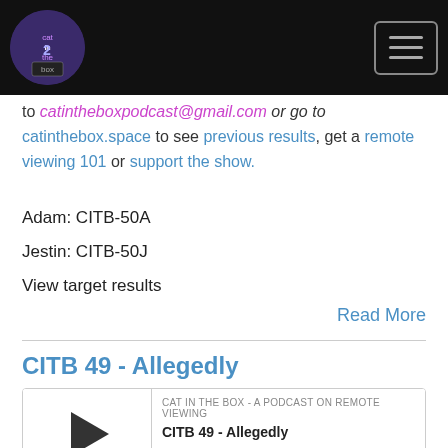Cat in the Box - header with logo and menu button
to catintheboxpodcast@gmail.com or go to catinthebox.space to see previous results, get a remote viewing 101 or support the show.
Adam: CITB-50A
Jestin: CITB-50J
View target results
Read More
CITB 49 - Allegedly
[Figure (other): Podcast audio player widget for CITB 49 - Allegedly on CAT IN THE BOX - A PODCAST ON REMOTE VIEWING, showing play button, episode title, progress bar, timestamp 00:00:00, and controls for RSS, download, embed, and headphones.]